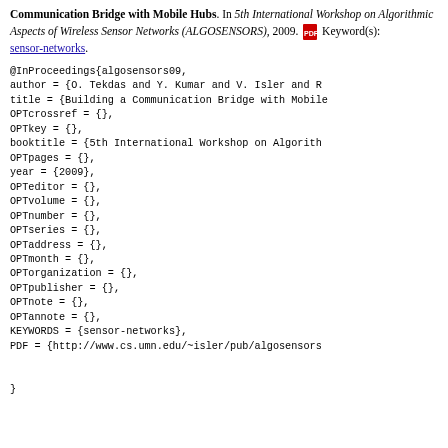Communication Bridge with Mobile Hubs. In 5th International Workshop on Algorithmic Aspects of Wireless Sensor Networks (ALGOSENSORS), 2009. [PDF] Keyword(s): sensor-networks.
@InProceedings{algosensors09,
author = {O. Tekdas and Y. Kumar and V. Isler and R
title = {Building a Communication Bridge with Mobile
OPTcrossref = {},
OPTkey = {},
booktitle = {5th International Workshop on Algorith
OPTpages = {},
year = {2009},
OPTeditor = {},
OPTvolume = {},
OPTnumber = {},
OPTseries = {},
OPTaddress = {},
OPTmonth = {},
OPTorganization = {},
OPTpublisher = {},
OPTnote = {},
OPTannote = {},
KEYWORDS = {sensor-networks},
PDF = {http://www.cs.umn.edu/~isler/pub/algosensors

}